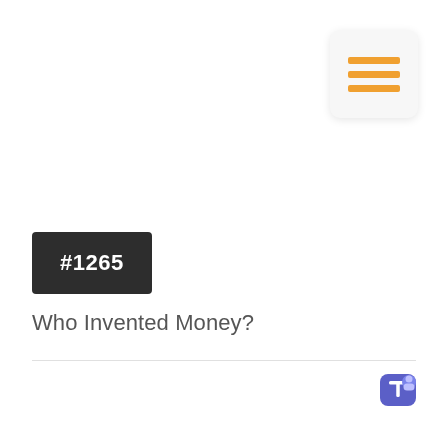[Figure (other): Hamburger menu icon button with three orange horizontal lines on a light grey rounded square background]
#1265
Who Invented Money?
[Figure (logo): Microsoft Teams logo icon — purple/blue shield shape with white letter T]